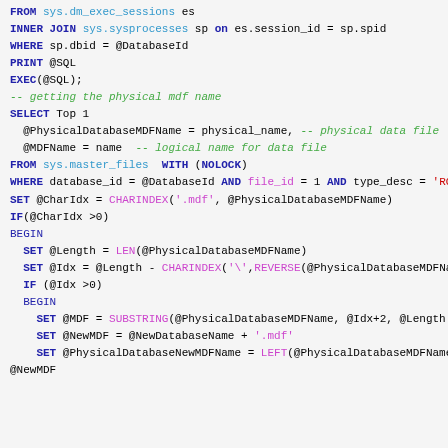FROM sys.dm_exec_sessions es
INNER JOIN sys.sysprocesses sp on es.session_id = sp.spid
WHERE sp.dbid = @DatabaseId

PRINT @SQL
EXEC(@SQL);

-- getting the physical mdf name
SELECT Top 1
  @PhysicalDatabaseMDFName = physical_name, -- physical data file
  @MDFName = name  -- logical name for data file
FROM sys.master_files  WITH (NOLOCK)
WHERE database_id = @DatabaseId AND file_id = 1 AND type_desc = 'ROWS'

SET @CharIdx = CHARINDEX('.mdf', @PhysicalDatabaseMDFName)
IF(@CharIdx >0)
BEGIN
  SET @Length = LEN(@PhysicalDatabaseMDFName)
  SET @Idx = @Length - CHARINDEX('\',REVERSE(@PhysicalDatabaseMDFName))
  IF (@Idx >0)
  BEGIN
    SET @MDF = SUBSTRING(@PhysicalDatabaseMDFName, @Idx+2, @Length - @Idx +1)
    SET @NewMDF = @NewDatabaseName + '.mdf'
    SET @PhysicalDatabaseNewMDFName = LEFT(@PhysicalDatabaseMDFName,@Idx+1) + @NewMDF